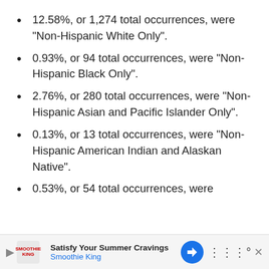12.58%, or 1,274 total occurrences, were "Non-Hispanic White Only".
0.93%, or 94 total occurrences, were "Non-Hispanic Black Only".
2.76%, or 280 total occurrences, were "Non-Hispanic Asian and Pacific Islander Only".
0.13%, or 13 total occurrences, were "Non-Hispanic American Indian and Alaskan Native".
0.53%, or 54 total occurrences, were